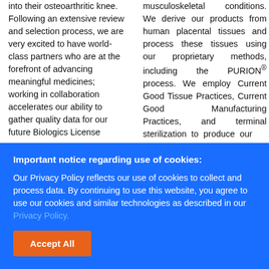into their osteoarthritic knee. Following an extensive review and selection process, we are very excited to have world-class partners who are at the forefront of advancing meaningful medicines; working in collaboration accelerates our ability to gather quality data for our future Biologics License
musculoskeletal conditions. We derive our products from human placental tissues and process these tissues using our proprietary methods, including the PURION® process. We employ Current Good Tissue Practices, Current Good Manufacturing Practices, and terminal sterilization to produce our
Important notice regarding use of cookies: Our Privacy Policy reflects our use of cookies to collect and process data. By continuing to use this website, you agree to use our cookies and similar technologies as described in our Privacy Policy.